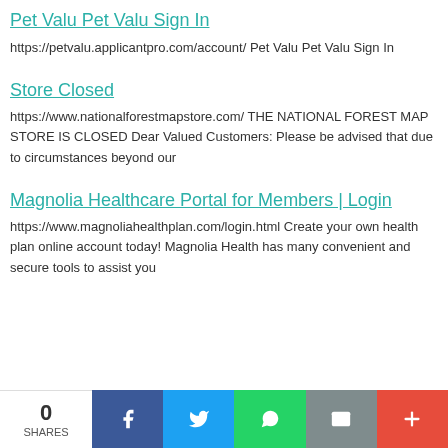Pet Valu Pet Valu Sign In
https://petvalu.applicantpro.com/account/ Pet Valu Pet Valu Sign In
Store Closed
https://www.nationalforestmapstore.com/ THE NATIONAL FOREST MAP STORE IS CLOSED Dear Valued Customers: Please be advised that due to circumstances beyond our
Magnolia Healthcare Portal for Members | Login
https://www.magnoliahealthplan.com/login.html Create your own health plan online account today! Magnolia Health has many convenient and secure tools to assist you
0 SHARES [Facebook] [Twitter] [WhatsApp] [Email] [More]